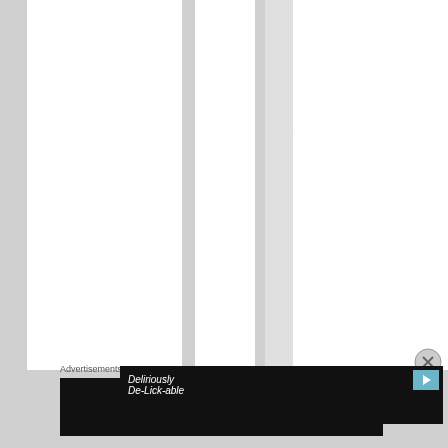[Figure (screenshot): Web browser interface showing vertical text 'you will see your dash' character by character in a gray highlighted column, with white columns on either side]
Advertisements
[Figure (screenshot): Dark advertisement banner with italic text 'Deliriously De-Lick-able' and a play button icon]